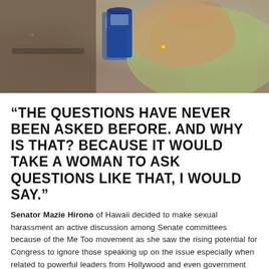[Figure (photo): Photo of Senator Mazie Hirono gesturing with her hand during a Senate hearing, with a blue cup visible in the background and a green sleeve visible at her arm.]
“THE QUESTIONS HAVE NEVER BEEN ASKED BEFORE. AND WHY IS THAT? BECAUSE IT WOULD TAKE A WOMAN TO ASK QUESTIONS LIKE THAT, I WOULD SAY.”
Senator Mazie Hirono of Hawaii decided to make sexual harassment an active discussion among Senate committees because of the Me Too movement as she saw the rising potential for Congress to ignore those speaking up on the issue especially when related to powerful leaders from Hollywood and even government officials.
The Huffington Post released an article that mentioned how Hirono routinely asks these 2 pressing questions:
“Since you became a legal adult, have you ever made unwanted requests for sexual favors or committed any verbal or physical harassment or assault of a sexual nature?”